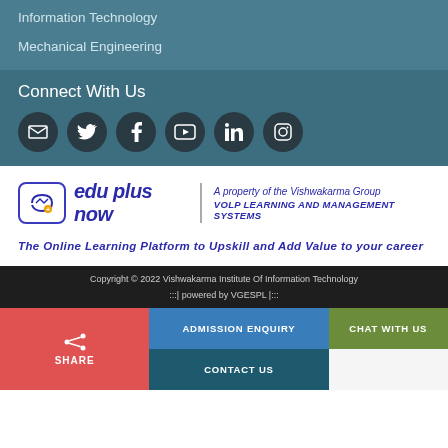Information Technology
Mechanical Engineering
Connect With Us
[Figure (infographic): Six social media icons in dark circles: email, Twitter, Facebook, YouTube, LinkedIn, Instagram]
[Figure (logo): edu plus now logo with tagline: A property of the Vishwakarma Group VOLP LEARNING AND MANAGEMENT SYSTEMS]
The Online Learning Platform to Upskill and Add Value to your career
Copyright © 2022 Vishwakarma Institute Of Information Technology
:::| powered by VGESPL |:::
SHARE
ADMISSION ENQUIRY
CHAT WITH US
CONTACT US